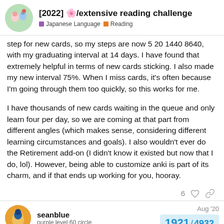[2022] 🌸/extensive reading challenge — Japanese Language | Reading
step for new cards, so my steps are now 5 20 1440 8640, with my graduating interval at 14 days. I have found that extremely helpful in terms of new cards sticking. I also made my new interval 75%. When I miss cards, it's often because I'm going through them too quickly, so this works for me.
I have thousands of new cards waiting in the queue and only learn four per day, so we are coming at that part from different angles (which makes sense, considering different learning circumstances and goals). I also wouldn't ever do the Retirement add-on (I didn't know it existed but now that I do, lol). However, being able to customize anki is part of its charm, and if that ends up working for you, hooray.
6 ♡ 🔗
seanblue — purple level 60 circle — Aug '20 — 1921 / 4932